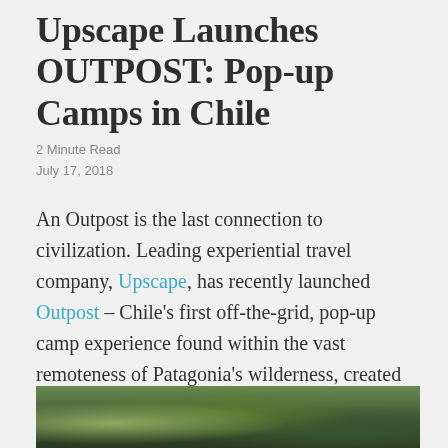Upscape Launches OUTPOST: Pop-up Camps in Chile
2 Minute Read
July 17, 2018
An Outpost is the last connection to civilization. Leading experiential travel company, Upscape, has recently launched Outpost – Chile's first off-the-grid, pop-up camp experience found within the vast remoteness of Patagonia's wilderness, created to escape the buzz of 21st-century life.
[Figure (photo): Partial view of a nature/wilderness photograph, likely showing Patagonian landscape with green foliage]